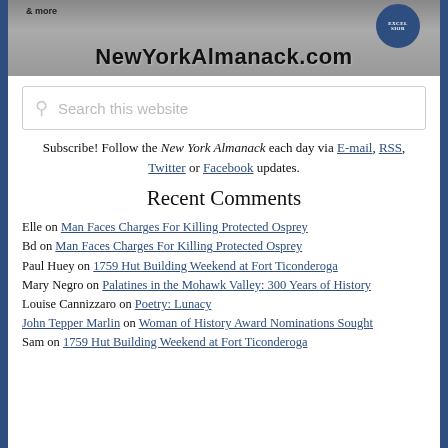[Figure (illustration): NewYorkAlmanack.com website header banner with city skyline background, EXCELSIOR seal on right, and bold site name text]
[Figure (other): Search box with magnifying glass icon and placeholder text 'Search this website']
Subscribe! Follow the New York Almanack each day via E-mail, RSS, Twitter or Facebook updates.
Recent Comments
Elle on Man Faces Charges For Killing Protected Osprey
Bd on Man Faces Charges For Killing Protected Osprey
Paul Huey on 1759 Hut Building Weekend at Fort Ticonderoga
Mary Negro on Palatines in the Mohawk Valley: 300 Years of History
Louise Cannizzaro on Poetry: Lunacy
John Tepper Marlin on Woman of History Award Nominations Sought
Sam on 1759 Hut Building Weekend at Fort Ticonderoga